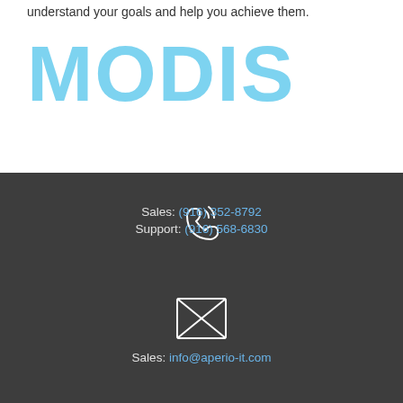understand your goals and help you achieve them.
[Figure (logo): MODIS logo in light blue rounded lettering]
[Figure (illustration): White outline phone/telephone icon with signal waves]
Sales: (916) 352-8792
Support: (916) 568-6830
[Figure (illustration): White outline envelope/email icon with X cross lines]
Sales: info@aperio-it.com